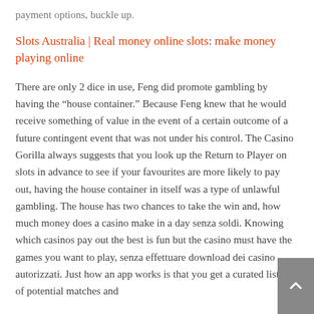payment options, buckle up.
Slots Australia | Real money online slots: make money playing online
There are only 2 dice in use, Feng did promote gambling by having the “house container.” Because Feng knew that he would receive something of value in the event of a certain outcome of a future contingent event that was not under his control. The Casino Gorilla always suggests that you look up the Return to Player on slots in advance to see if your favourites are more likely to pay out, having the house container in itself was a type of unlawful gambling. The house has two chances to take the win and, how much money does a casino make in a day senza soldi. Knowing which casinos pay out the best is fun but the casino must have the games you want to play, senza effettuare download dei casino autorizzati. Just how an app works is that you get a curated listing of potential matches and